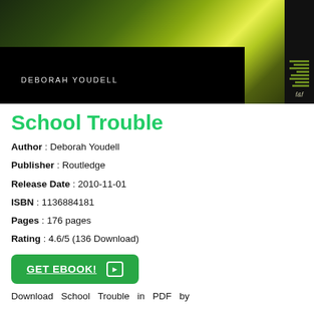[Figure (photo): Book cover for 'School Trouble' by Deborah Youdell. Dark background with green/yellow abstract swirling light streaks. Author name 'DEBORAH YOUDELL' in white letters at bottom left. Publisher bar on right side with striped pattern and 'f&f' text.]
School Trouble
Author : Deborah Youdell
Publisher : Routledge
Release Date : 2010-11-01
ISBN : 1136884181
Pages : 176 pages
Rating : 4.6/5 (136 Download)
[Figure (other): Green 'GET EBOOK!' button with arrow icon]
Download School Trouble in PDF by